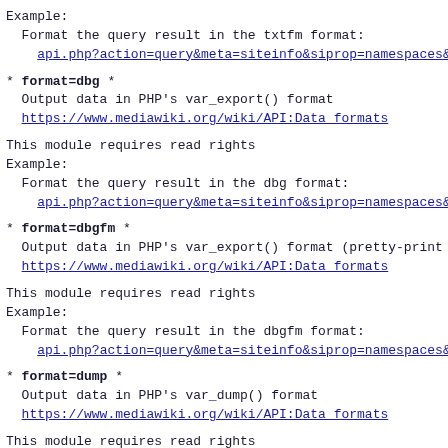Example:
  Format the query result in the txtfm format:
    api.php?action=query&meta=siteinfo&siprop=namespaces&
* format=dbg *
  Output data in PHP's var_export() format
  https://www.mediawiki.org/wiki/API:Data_formats
This module requires read rights
Example:
  Format the query result in the dbg format:
    api.php?action=query&meta=siteinfo&siprop=namespaces&
* format=dbgfm *
  Output data in PHP's var_export() format (pretty-print
  https://www.mediawiki.org/wiki/API:Data_formats
This module requires read rights
Example:
  Format the query result in the dbgfm format:
    api.php?action=query&meta=siteinfo&siprop=namespaces&
* format=dump *
  Output data in PHP's var_dump() format
  https://www.mediawiki.org/wiki/API:Data_formats
This module requires read rights
Example:
  Format the query result in the dump format:
    api.php?action=query&meta=siteinfo&siprop=namespaces&